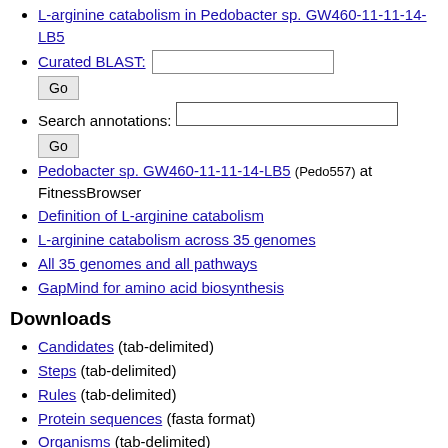L-arginine catabolism in Pedobacter sp. GW460-11-11-14-LB5
Curated BLAST: [input] Go
Search annotations: [input] Go
Pedobacter sp. GW460-11-11-14-LB5 (Pedo557) at FitnessBrowser
Definition of L-arginine catabolism
L-arginine catabolism across 35 genomes
All 35 genomes and all pathways
GapMind for amino acid biosynthesis
Downloads
Candidates (tab-delimited)
Steps (tab-delimited)
Rules (tab-delimited)
Protein sequences (fasta format)
Organisms (tab-delimited)
SQLite3 databases
Curated proteins
Rules, steps, and queries
Analysis results